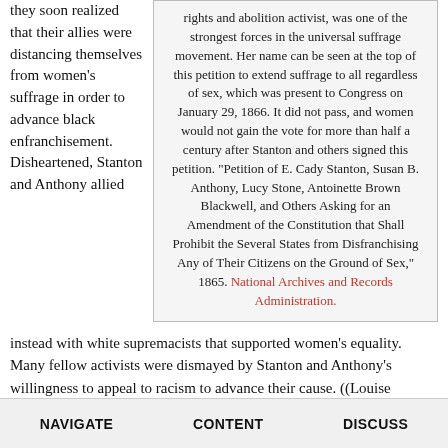they soon realized that their allies were distancing themselves from women's suffrage in order to advance black enfranchisement. Disheartened, Stanton and Anthony allied
rights and abolition activist, was one of the strongest forces in the universal suffrage movement. Her name can be seen at the top of this petition to extend suffrage to all regardless of sex, which was present to Congress on January 29, 1866. It did not pass, and women would not gain the vote for more than half a century after Stanton and others signed this petition. "Petition of E. Cady Stanton, Susan B. Anthony, Lucy Stone, Antoinette Brown Blackwell, and Others Asking for an Amendment of the Constitution that Shall Prohibit the Several States from Disfranchising Any of Their Citizens on the Ground of Sex," 1865. National Archives and Records Administration.
instead with white supremacists that supported women's equality. Many fellow activists were dismayed by Stanton and Anthony's willingness to appeal to racism to advance their cause. ((Louise Michele Newman, White Women's Rights: The Racial Origins of Feminism in the United States (New York: Oxford University Press, 1999), 3-8.))
NAVIGATE   CONTENT   DISCUSS